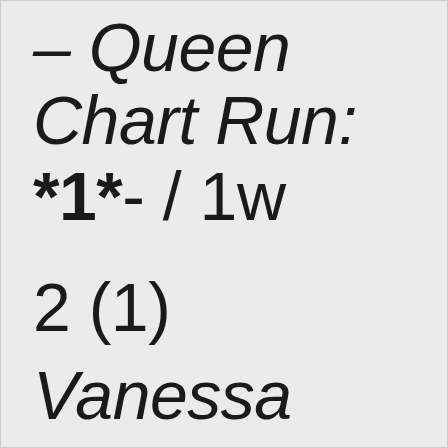– Queen Chart Run: *1*- / 1w
2 (1)
Vanessa